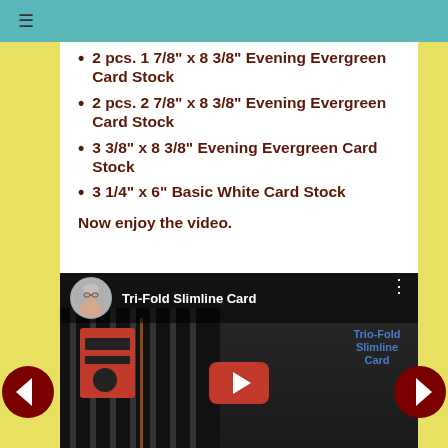≡
2 pcs. 1 7/8" x 8 3/8" Evening Evergreen Card Stock
2 pcs. 2 7/8" x 8 3/8" Evening Evergreen Card Stock
3 3/8" x 8 3/8" Evening Evergreen Card Stock
3 1/4" x 6" Basic White Card Stock
Now enjoy the video.
[Figure (screenshot): YouTube video thumbnail for 'Tri-Fold Slimline Card' with a woman avatar, video title bar, red play button, and sidebar text reading 'Trio-Fold Slimline Card'. Navigation arrows (left and right) are visible on the sides.]